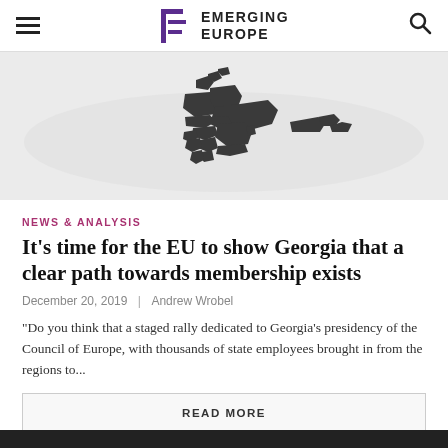Emerging Europe
[Figure (map): Map of Emerging Europe region showing Central and Eastern European countries highlighted in dark grey against a light grey world map background.]
NEWS & ANALYSIS
It’s time for the EU to show Georgia that a clear path towards membership exists
December 20, 2019  |  Andrew Wrobel
“Do you think that a staged rally dedicated to Georgia’s presidency of the Council of Europe, with thousands of state employees brought in from the regions to...
READ MORE